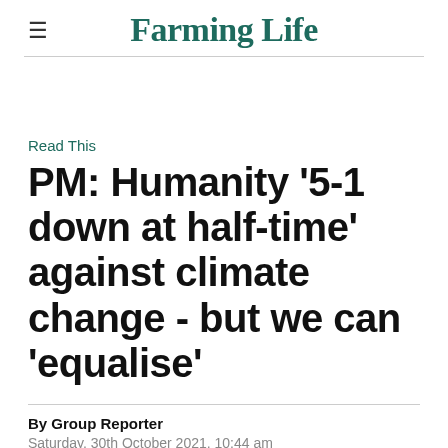Farming Life
Read This
PM: Humanity '5-1 down at half-time' against climate change - but we can 'equalise'
By Group Reporter
Saturday, 30th October 2021, 10:44 am